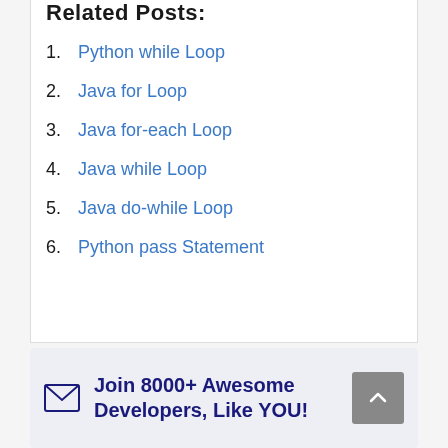Related Posts:
Python while Loop
Java for Loop
Java for-each Loop
Java while Loop
Java do-while Loop
Python pass Statement
Join 8000+ Awesome Developers, Like YOU!